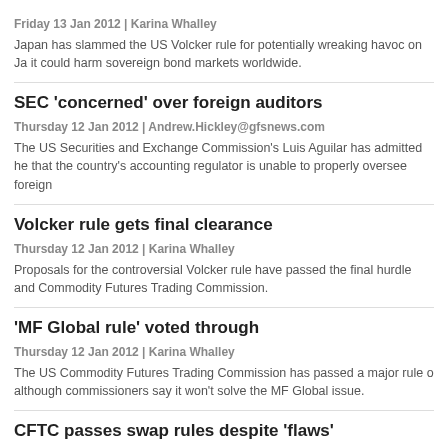Friday 13 Jan 2012 | Karina Whalley
Japan has slammed the US Volcker rule for potentially wreaking havoc on Ja it could harm sovereign bond markets worldwide.
SEC ‘concerned’ over foreign auditors
Thursday 12 Jan 2012 | Andrew.Hickley@gfsnews.com
The US Securities and Exchange Commission’s Luis Aguilar has admitted he that the country’s accounting regulator is unable to properly oversee foreign
Volcker rule gets final clearance
Thursday 12 Jan 2012 | Karina Whalley
Proposals for the controversial Volcker rule have passed the final hurdle and Commodity Futures Trading Commission.
‘MF Global rule’ voted through
Thursday 12 Jan 2012 | Karina Whalley
The US Commodity Futures Trading Commission has passed a major rule o although commissioners say it won’t solve the MF Global issue.
CFTC passes swap rules despite ‘flaws’
Thursday 12 Jan 2012 | Karina Whalley